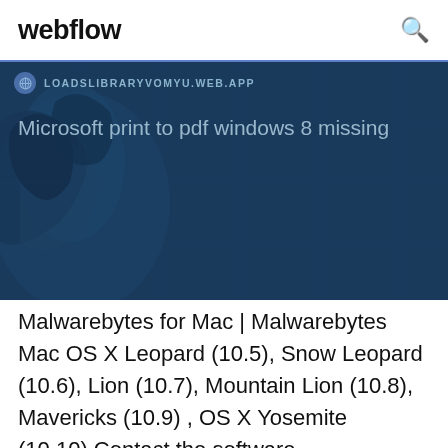webflow
[Figure (screenshot): Blue banner showing a URL bar with LOADSLIBRARYVOMYU.WEB.APP and a heading 'Microsoft print to pdf windows 8 missing' over a dark blue map background]
Malwarebytes for Mac | Malwarebytes Mac OS X Leopard (10.5), Snow Leopard (10.6), Lion (10.7), Mountain Lion (10.8), Mavericks (10.9) , OS X Yosemite (10.10).Contact the software manufacturer for assistance. A: Pavtube has been updated to support the coming Mac Mountain Lion system. This